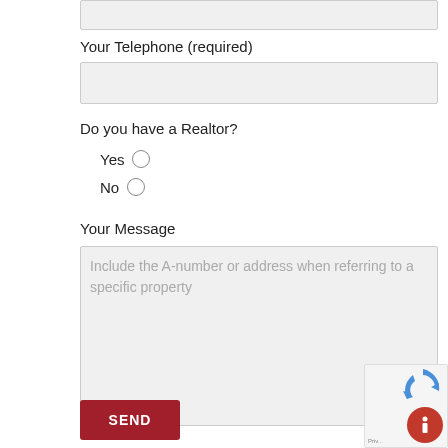Your Telephone (required)
Do you have a Realtor?
Yes
No
Your Message
Include the A-number or address when referring to a specific property
SEND